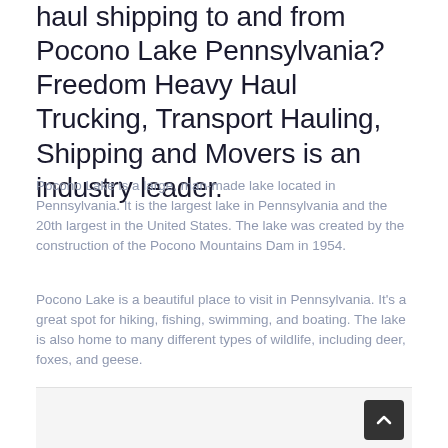haul shipping to and from Pocono Lake Pennsylvania? Freedom Heavy Haul Trucking, Transport Hauling, Shipping and Movers is an industry leader.
Pocono Lake is a large, man-made lake located in Pennsylvania. It is the largest lake in Pennsylvania and the 20th largest in the United States. The lake was created by the construction of the Pocono Mountains Dam in 1954.
Pocono Lake is a beautiful place to visit in Pennsylvania. It's a great spot for hiking, fishing, swimming, and boating. The lake is also home to many different types of wildlife, including deer, foxes, and geese.